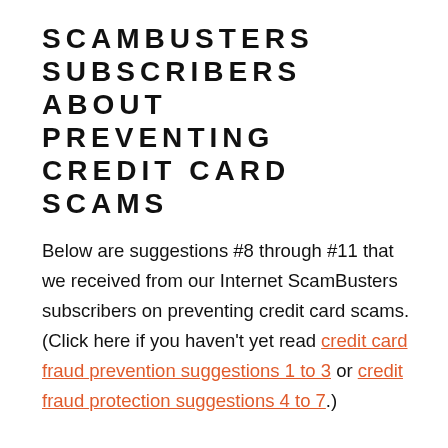SCAMBUSTERS SUBSCRIBERS ABOUT PREVENTING CREDIT CARD SCAMS
Below are suggestions #8 through #11 that we received from our Internet ScamBusters subscribers on preventing credit card scams. (Click here if you haven't yet read credit card fraud prevention suggestions 1 to 3 or credit fraud protection suggestions 4 to 7.)